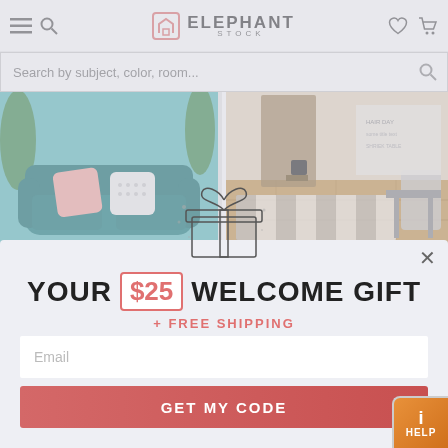[Figure (screenshot): ElephantStock e-commerce website screenshot showing header with logo, search bar, and product image cards (sofa and room scene), partially visible behind a modal popup overlay]
[Figure (infographic): Modal popup offering a $25 welcome gift plus free shipping, with gift box illustration, email input field, GET MY CODE button, and a close X button]
YOUR $25 WELCOME GIFT
+ FREE SHIPPING
Email
GET MY CODE